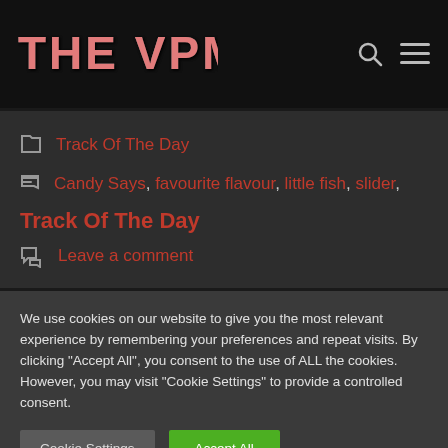THE VPME
Track Of The Day
Candy Says, favourite flavour, little fish, slider, Track Of The Day
Leave a comment
We use cookies on our website to give you the most relevant experience by remembering your preferences and repeat visits. By clicking "Accept All", you consent to the use of ALL the cookies. However, you may visit "Cookie Settings" to provide a controlled consent.
Cookie Settings | Accept All